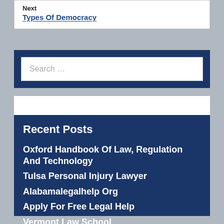Next
Types Of Democracy
Search …
Recent Posts
Oxford Handbook Of Law, Regulation And Technology
Tulsa Personal Injury Lawyer
Alabamalegalhelp Org
Apply For Free Legal Help
Vermont Law School